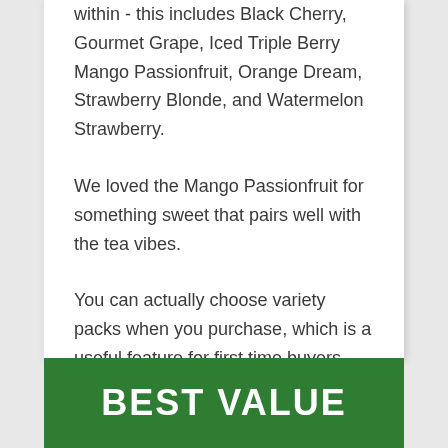within - this includes Black Cherry, Gourmet Grape, Iced Triple Berry Mango Passionfruit, Orange Dream, Strawberry Blonde, and Watermelon Strawberry.
We loved the Mango Passionfruit for something sweet that pairs well with the tea vibes.
You can actually choose variety packs when you purchase, which is a useful feature for first time buyers.
BEST VALUE